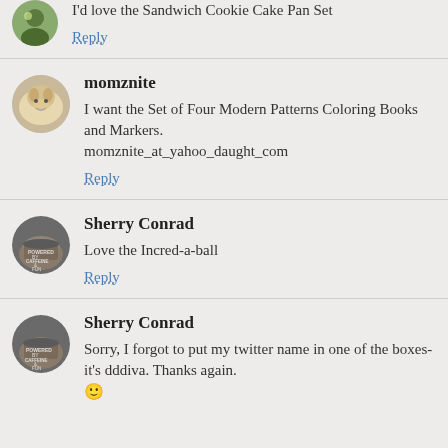I'd love the Sandwich Cookie Cake Pan Set
Reply
momznite
I want the Set of Four Modern Patterns Coloring Books and Markers.
momznite_at_yahoo_daught_com
Reply
Sherry Conrad
Love the Incred-a-ball
Reply
Sherry Conrad
Sorry, I forgot to put my twitter name in one of the boxes- it's dddiva. Thanks again. 🙂